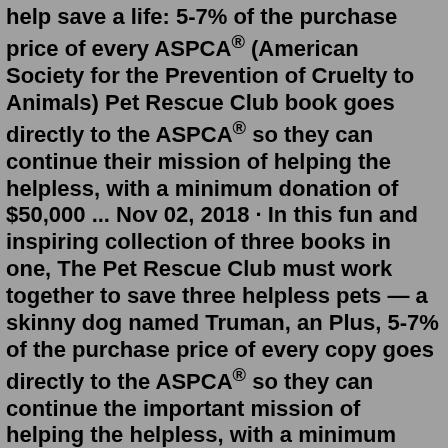help save a life: 5-7% of the purchase price of every ASPCA® (American Society for the Prevention of Cruelty to Animals) Pet Rescue Club book goes directly to the ASPCA® so they can continue their mission of helping the helpless, with a minimum donation of $50,000 ... Nov 02, 2018 · In this fun and inspiring collection of three books in one, The Pet Rescue Club must work together to save three helpless pets — a skinny dog named Truman, an Plus, 5-7% of the purchase price of every copy goes directly to the ASPCA® so they can continue the important mission of helping the helpless, with a minimum donation of $50,000 ... The Pet Rescue Club book series by Catherine Hapka includes books ASPCA Kids: Pet Rescue Club: A New Home for Truman, ASPCA kids: Pet Rescue Club: No Time for Hallie, ASPCA Kids: Pet Rescue Club: The Lonely Pony, and several more. See the complete Pet Rescue Club series book list in order, box sets or omnibus editions, and companion titles. Read a book and help save a life: 5-7% of the purchase price of every ASPCA(R)